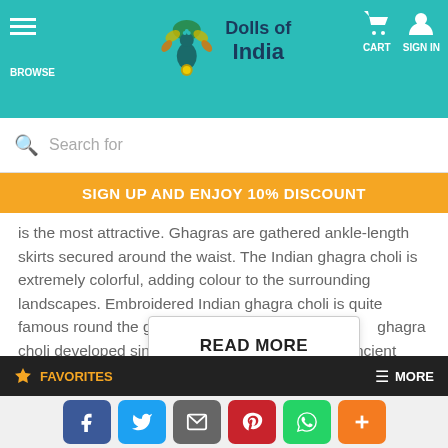Dolls of India — BROWSE | CART | SIGN IN
Search for
SIGN UP AND ENJOY 10% DISCOUNT
is the most attractive. Ghagras are gathered ankle-length skirts secured around the waist. The Indian ghagra choli is extremely colorful, adding colour to the surrounding landscapes. Embroidered Indian ghagra choli is quite famous round the globe. It is one of the ghagra choli developed since the nomads of ancient
READ MORE
Follow us:
[Figure (infographic): Social media icons row: Facebook (blue circle), Pinterest (red circle), Instagram (pink/red gradient circle), YouTube (dark red circle), Twitter (light blue circle)]
FAVORITES | MORE
[Figure (infographic): Share buttons row: Facebook (blue), Twitter (light blue), Email/share (grey), Pinterest (red), WhatsApp (green), Plus/more (orange)]